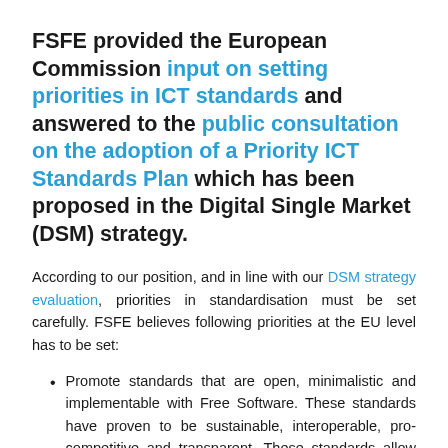FSFE provided the European Commission input on setting priorities in ICT standards and answered to the public consultation on the adoption of a Priority ICT Standards Plan which has been proposed in the Digital Single Market (DSM) strategy.
According to our position, and in line with our DSM strategy evaluation, priorities in standardisation must be set carefully. FSFE believes following priorities at the EU level has to be set:
Promote standards that are open, minimalistic and implementable with Free Software. These standards have proven to be sustainable, interoperable, pro-competitive and transparent. These standards allow actors of different size to easily adopt and implement them that in return will guarantee widest competition of goods and services on the market, and the widest proliferation